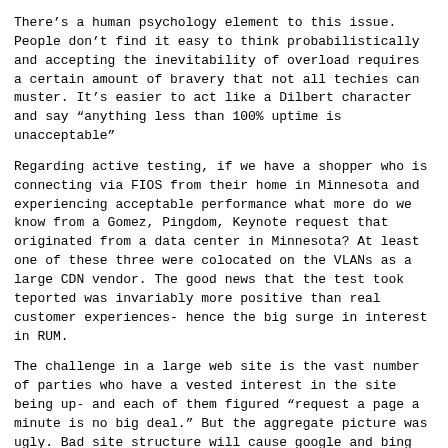There’s a human psychology element to this issue. People don’t find it easy to think probabilistically and accepting the inevitability of overload requires a certain amount of bravery that not all techies can muster. It’s easier to act like a Dilbert character and say “anything less than 100% uptime is unacceptable”
Regarding active testing, if we have a shopper who is connecting via FIOS from their home in Minnesota and experiencing acceptable performance what more do we know from a Gomez, Pingdom, Keynote request that originated from a data center in Minnesota? At least one of these three were colocated on the VLANs as a large CDN vendor. The good news that the test took teported was invariably more positive than real customer experiences- hence the big surge in interest in RUM.
The challenge in a large web site is the vast number of parties who have a vested interest in the site being up- and each of them figured “request a page a minute is no big deal.” But the aggregate picture was ugly. Bad site structure will cause google and bing and other search engines to scrape in a pathological manner
Sent from my iPhone
> On Apr 11, 2018, at 2:04 AM, Jeff Abrahamson <jeff at ...>